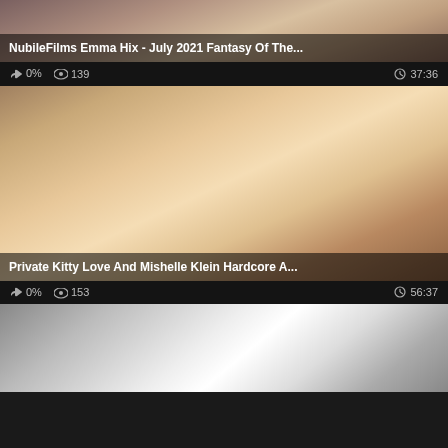[Figure (screenshot): Video thumbnail - top card, partially visible at top]
NubileFilms Emma Hix - July 2021 Fantasy Of The...
0%  139  37:36
[Figure (screenshot): Video thumbnail - middle card showing adult content]
Private Kitty Love And Mishelle Klein Hardcore A...
0%  153  56:37
[Figure (screenshot): Video thumbnail - bottom card, partially visible]